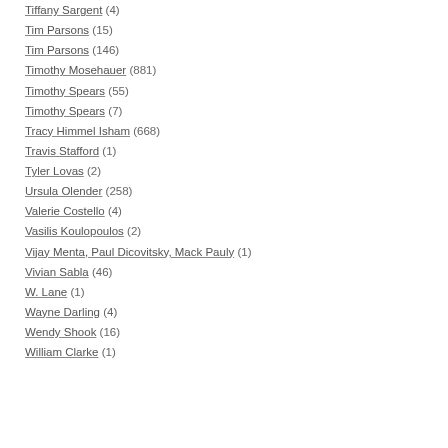Tiffany Sargent (4)
Tim Parsons (15)
Tim Parsons (146)
Timothy Mosehauer (881)
Timothy Spears (55)
Timothy Spears (7)
Tracy Himmel Isham (668)
Travis Stafford (1)
Tyler Lovas (2)
Ursula Olender (258)
Valerie Costello (4)
Vasilis Koulopoulos (2)
Vijay Menta, Paul Dicovitsky, Mack Pauly (1)
Vivian Sabla (46)
W. Lane (1)
Wayne Darling (4)
Wendy Shook (16)
William Clarke (1)